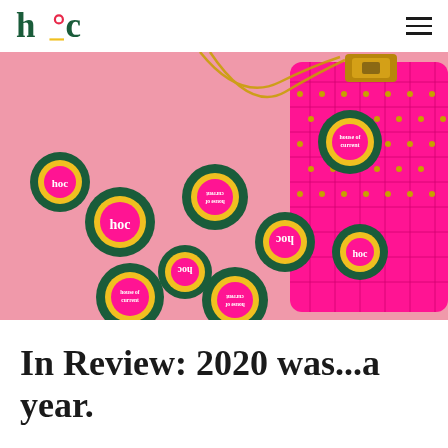hoc (House of Current logo) — navigation header
[Figure (photo): Flat-lay photo on pink background showing multiple round dark green, yellow, and pink 'house of current' branded stickers/badges with 'hoc' logo, scattered alongside a hot-pink quilted Valentino-style studded handbag with gold chain strap.]
In Review: 2020 was...a year.